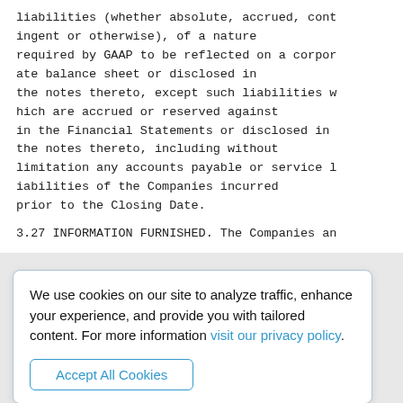liabilities (whether absolute, accrued, contingent or otherwise), of a nature required by GAAP to be reflected on a corporate balance sheet or disclosed in the notes thereto, except such liabilities which are accrued or reserved against in the Financial Statements or disclosed in the notes thereto, including without limitation any accounts payable or service liabilities of the Companies incurred prior to the Closing Date.
3.27 INFORMATION FURNISHED.  The Companies an
We use cookies on our site to analyze traffic, enhance your experience, and provide you with tailored content.
For more information visit our privacy policy.